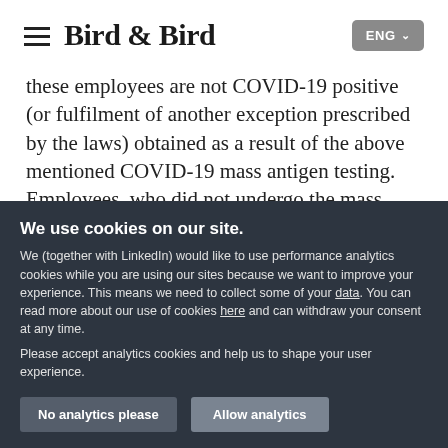Bird & Bird  ENG
these employees are not COVID-19 positive (or fulfilment of another exception prescribed by the laws) obtained as a result of the above mentioned COVID-19 mass antigen testing. Employees, who did not undergo the mass antigen testing (or those who do not have any other document confirming no need to undergo such testing), must stay
We use cookies on our site.
We (together with LinkedIn) would like to use performance analytics cookies while you are using our sites because we want to improve your experience. This means we need to collect some of your data. You can read more about our use of cookies here and can withdraw your consent at any time.

Please accept analytics cookies and help us to shape your user experience.
No analytics please
Allow analytics